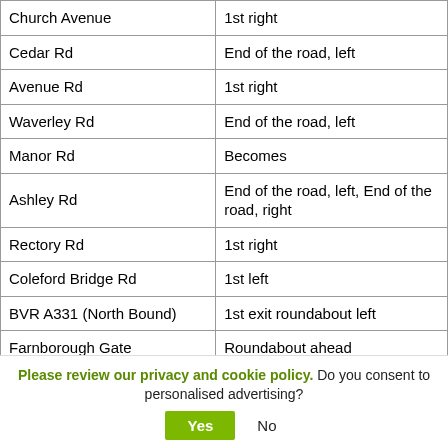| Church Avenue | 1st right |
| Cedar Rd | End of the road, left |
| Avenue Rd | 1st right |
| Waverley Rd | End of the road, left |
| Manor Rd | Becomes |
| Ashley Rd | End of the road, left, End of the road, right |
| Rectory Rd | 1st right |
| Coleford Bridge Rd | 1st left |
| BVR A331 (North Bound) | 1st exit roundabout left |
| Farnborough Gate | Roundabout ahead |
| Hawley Lane | Ahead 2nd mini roundabout 2nd left |
Please review our privacy and cookie policy. Do you consent to personalised advertising? Yes No